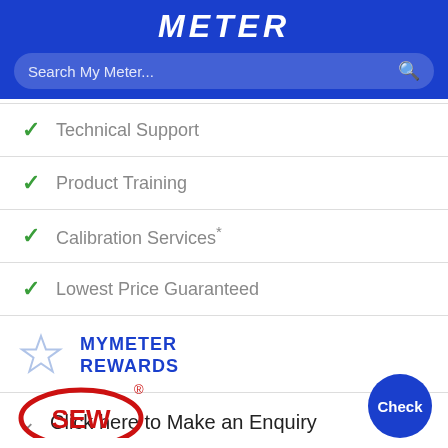METER
Search My Meter...
Technical Support
Product Training
Calibration Services*
Lowest Price Guaranteed
MYMETER REWARDS
Click here to Make an Enquiry
[Figure (logo): SEW registered trademark logo in red oval]
Check